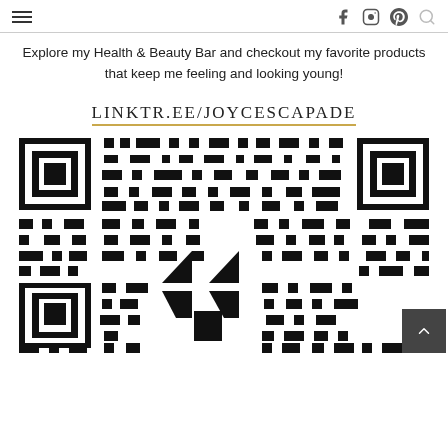Navigation bar with hamburger menu and social icons (Facebook, Instagram, Pinterest, Search)
Explore my Health & Beauty Bar and checkout my favorite products that keep me feeling and looking young!
LINKTR.EE/JOYCESCAPADE
[Figure (other): QR code linking to linktr.ee/joycescapade with Linktree logo in the center]